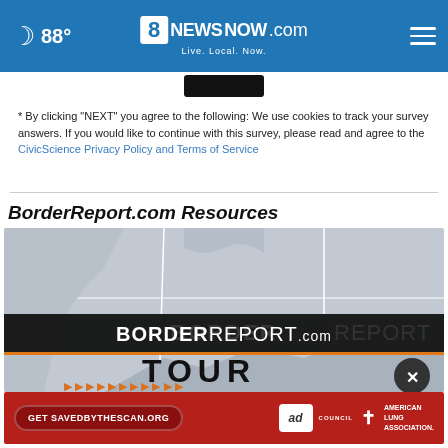88° 8newsNOW.com Live. Local. Now.
[Figure (screenshot): Dark button/widget area below header]
* By clicking "NEXT" you agree to the following: We use cookies to track your survey answers. If you would like to continue with this survey, please read and agree to the CivicScience Privacy Policy and Terms of Service
BorderReport.com Resources
[Figure (photo): BorderReport.com Tour promotional image with map background, BORDERREPORT.com banner, TOUR text, orange arrows, and close button]
[Figure (infographic): Red advertisement banner: Get SAVEDBYTHESCAN.ORG with Ad Council and American Lung Association logos]